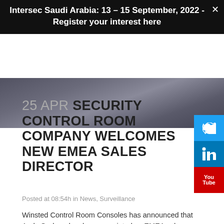Intersec Saudi Arabia: 13 – 15 September, 2022 - Register your interest here
[Figure (photo): Photo of a person in a suit/jacket, cropped to show shoulders and clothing]
25 APR SECURITY CONTROL ROOM COMPANY WELCOMES NEW EMEA SALES DIRECTOR
Posted at 08:54h in News, Surveillance
Winsted Control Room Consoles has announced that Andy Graham has been appointed as EMEA sales director. Andy's appointment comes as